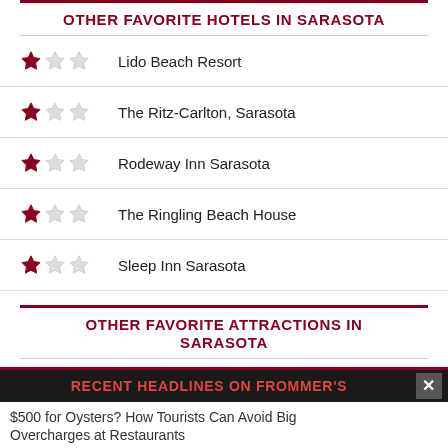OTHER FAVORITE HOTELS IN SARASOTA
Lido Beach Resort
The Ritz-Carlton, Sarasota
Rodeway Inn Sarasota
The Ringling Beach House
Sleep Inn Sarasota
OTHER FAVORITE ATTRACTIONS IN SARASOTA
The Ringling
Gamble Plantation
Robinson Preserve
RECENT HEADLINES ON FROMMER'S
$500 for Oysters? How Tourists Can Avoid Big Overcharges at Restaurants